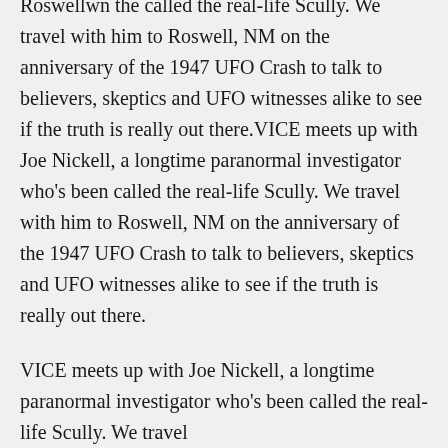Roswellwn the called the real-life Scully. We travel with him to Roswell, NM on the anniversary of the 1947 UFO Crash to talk to believers, skeptics and UFO witnesses alike to see if the truth is really out there.VICE meets up with Joe Nickell, a longtime paranormal investigator who's been called the real-life Scully. We travel with him to Roswell, NM on the anniversary of the 1947 UFO Crash to talk to believers, skeptics and UFO witnesses alike to see if the truth is really out there.
VICE meets up with Joe Nickell, a longtime paranormal investigator who's been called the real-life Scully. We travel